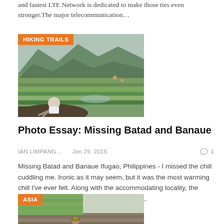and fastest LTE Network is dedicated to make those ties even stronger.The major telecommunication…
[Figure (photo): Person sitting on a rock overlooking Batad rice terraces in Ifugao, Philippines. Mountains and green terraced fields in the background. Orange badge in top-left corner reading HIKING TRAILS.]
Photo Essay: Missing Batad and Banaue
IAN LIMPANG…    Jan 29, 2015    1
Missing Batad and Banaue Ifugao, Philippines - I missed the chill cuddling me. Ironic as it may seem, but it was the most warming chill I've ever felt. Along with the accommodating locality, the inviting community, and the awe-inspiring…
[Figure (photo): Worker in rice terraces field in Asia, with green paddy crops and stone walls. Orange badge in top-left corner reading ASIA.]